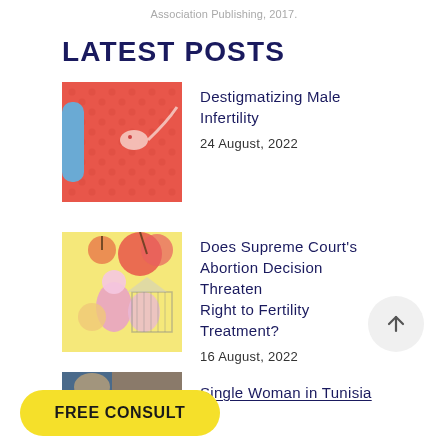Association Publishing, 2017.
LATEST POSTS
[Figure (illustration): Red/salmon colored illustration showing a sperm cell motif on a polka-dot background with a blue arm visible on the left — thumbnail for 'Destigmatizing Male Infertility' post]
Destigmatizing Male Infertility
24 August, 2022
[Figure (illustration): Yellow background illustration with colorful abstract figures and circular shapes — thumbnail for 'Does Supreme Court's Abortion Decision Threaten Right to Fertility Treatment?' post]
Does Supreme Court's Abortion Decision Threaten Right to Fertility Treatment?
16 August, 2022
[Figure (illustration): Partially visible thumbnail image at bottom of page for 'Single Woman in Tunisia' post]
Single Woman in Tunisia
FREE CONSULT